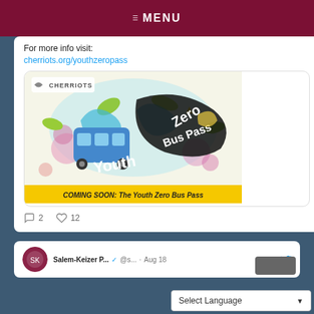≡ MENU
For more info visit:
cherriots.org/youthzeropass
[Figure (illustration): Cherriots Youth Zero Bus Pass promotional image with colorful doodle art showing a bus and text 'Youth Zero Bus Pass'. Bottom banner says 'COMING SOON: The Youth Zero Bus Pass']
2   12
Salem-Keizer P... ✓ @s... · Aug 18